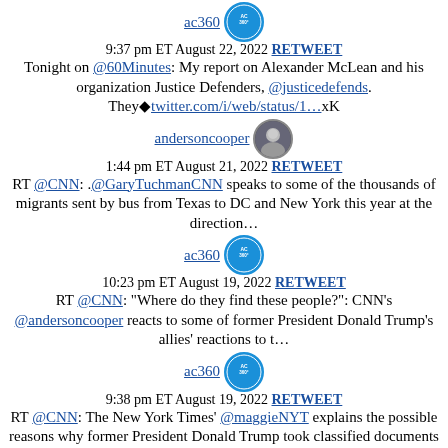ac360 [avatar] — 9:37 pm ET August 22, 2022 RETWEET — Tonight on @60Minutes: My report on Alexander McLean and his organization Justice Defenders, @justicedefends. They🔷twitter.com/i/web/status/1…xK
andersoncooper [avatar] — 1:44 pm ET August 21, 2022 RETWEET — RT @CNN: .@GaryTuchmanCNN speaks to some of the thousands of migrants sent by bus from Texas to DC and New York this year at the direction…
ac360 [avatar] — 10:23 pm ET August 19, 2022 RETWEET — RT @CNN: "Where do they find these people?": CNN's @andersoncooper reacts to some of former President Donald Trump's allies' reactions to t…
ac360 [avatar] — 9:38 pm ET August 19, 2022 RETWEET — RT @CNN: The New York Times' @maggieNYT explains the possible reasons why former President Donald Trump took classified documents to his Ma…